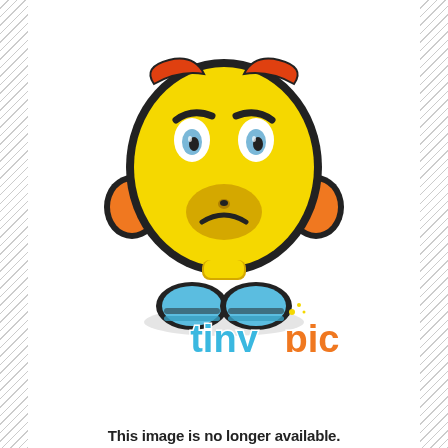[Figure (logo): TinyPic placeholder image: a round yellow cartoon face character with orange ear-like protrusions, red eyebrows, frowning expression, blue shoe/feet at bottom, sitting posture. Below the character is the 'tinypic' logo in colorful bubbly letters.]
This image is no longer available.